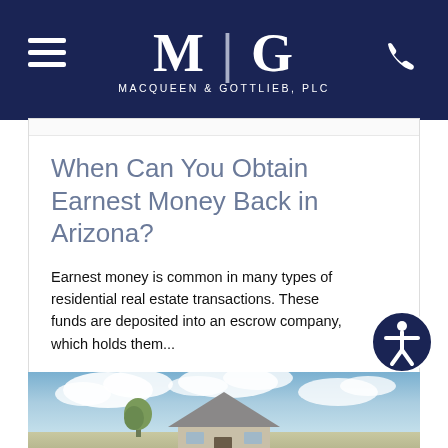MacQueen & Gottlieb, PLC
When Can You Obtain Earnest Money Back in Arizona?
Earnest money is common in many types of residential real estate transactions. These funds are deposited into an escrow company, which holds them...
Read More
[Figure (photo): Exterior photo of a house with a dramatic cloudy sky and a tree in the foreground]